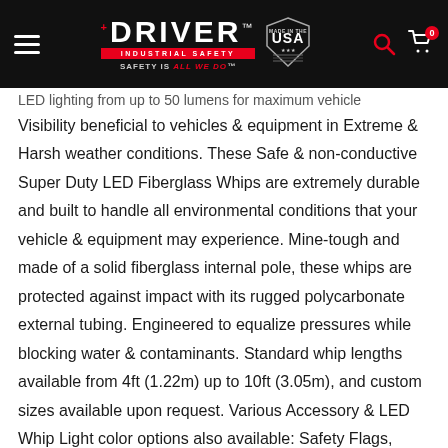DRIVER INDUSTRIAL SAFETY — SAFETY IS ALL WE DO™ | Made in the USA
LED lighting from up to 50 lumens for maximum vehicle Visibility beneficial to vehicles & equipment in Extreme & Harsh weather conditions. These Safe & non-conductive Super Duty LED Fiberglass Whips are extremely durable and built to handle all environmental conditions that your vehicle & equipment may experience. Mine-tough and made of a solid fiberglass internal pole, these whips are protected against impact with its rugged polycarbonate external tubing. Engineered to equalize pressures while blocking water & contaminants. Standard whip lengths available from 4ft (1.22m) up to 10ft (3.05m), and custom sizes available upon request. Various Accessory & LED Whip Light color options also available: Safety Flags, Mounts, Single & Dual Color LED light combinations.